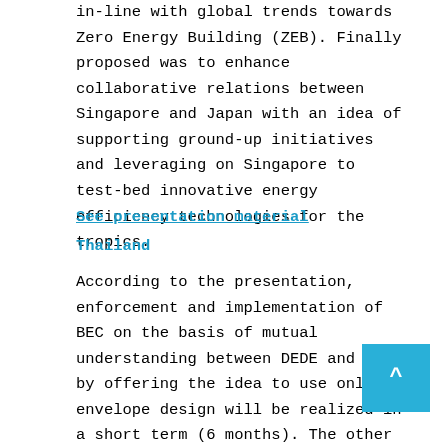in-line with global trends towards Zero Energy Building (ZEB). Finally proposed was to enhance collaborative relations between Singapore and Japan with an idea of supporting ground-up initiatives and leveraging on Singapore to test-bed innovative energy efficiency technologies for the tropics.
See presentation material
Thailand
According to the presentation, enforcement and implementation of BEC on the basis of mutual understanding between DEDE and DPT by offering the idea to use only envelope design will be realized in a short term (6 months). The other plan stated in the action plan was